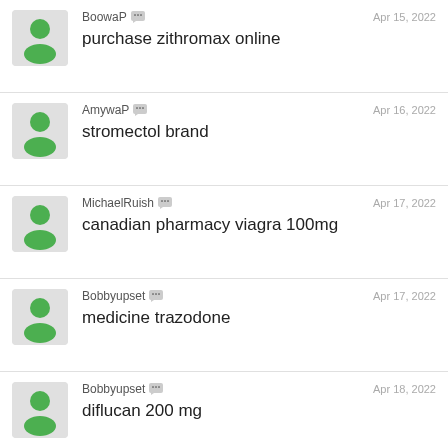BoowaP — Apr 15, 2022 — purchase zithromax online
AmywaP — Apr 16, 2022 — stromectol brand
MichaelRuish — Apr 17, 2022 — canadian pharmacy viagra 100mg
Bobbyupset — Apr 17, 2022 — medicine trazodone
Bobbyupset — Apr 18, 2022 — diflucan 200 mg
MarvinUseld — Apr 18, 2022 — compare sildenafil prices